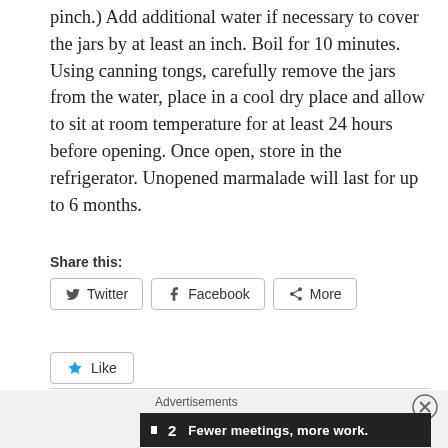pinch.) Add additional water if necessary to cover the jars by at least an inch. Boil for 10 minutes. Using canning tongs, carefully remove the jars from the water, place in a cool dry place and allow to sit at room temperature for at least 24 hours before opening. Once open, store in the refrigerator. Unopened marmalade will last for up to 6 months.
Share this:
[Figure (screenshot): Social share buttons: Twitter, Facebook, More]
[Figure (screenshot): Like button with star icon, text: Be the first to like this.]
[Figure (screenshot): Advertisement banner: F2 logo with text 'Fewer meetings, more work.']